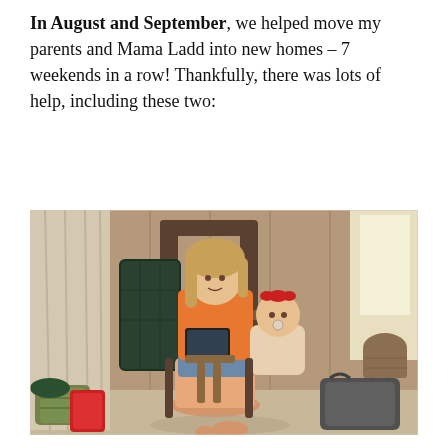In August and September, we helped move my parents and Mama Ladd into new homes – 7 weekends in a row! Thankfully, there was lots of help, including these two:
[Figure (photo): Two children sitting in a wooden rocking chair in a room with wood-paneled walls and curtains. An older girl in an orange shirt is holding a tablet, and a baby with a red bow is sitting beside her. Bags and belongings are on the floor around the chair.]